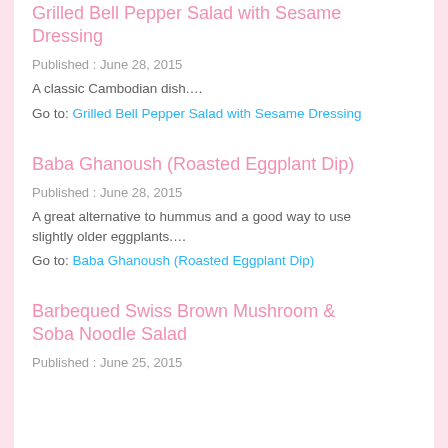Grilled Bell Pepper Salad with Sesame Dressing
Published : June 28, 2015
A classic Cambodian dish....
Go to: Grilled Bell Pepper Salad with Sesame Dressing
Baba Ghanoush (Roasted Eggplant Dip)
Published : June 28, 2015
A great alternative to hummus and a good way to use slightly older eggplants....
Go to: Baba Ghanoush (Roasted Eggplant Dip)
Barbequed Swiss Brown Mushroom & Soba Noodle Salad
Published : June 25, 2015